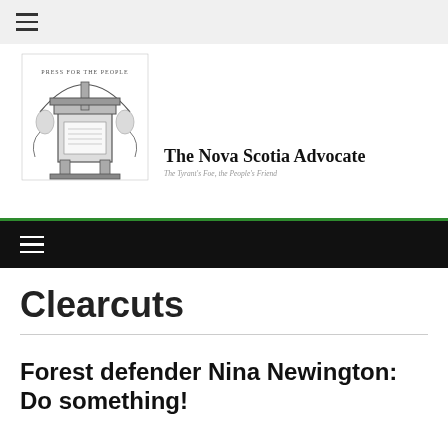≡
[Figure (logo): The Nova Scotia Advocate newspaper logo — vintage printing press illustration with text 'The Nova Scotia Advocate' and tagline 'The Tyrant's Foe, the People's Friend']
≡
Clearcuts
Forest defender Nina Newington: Do something!